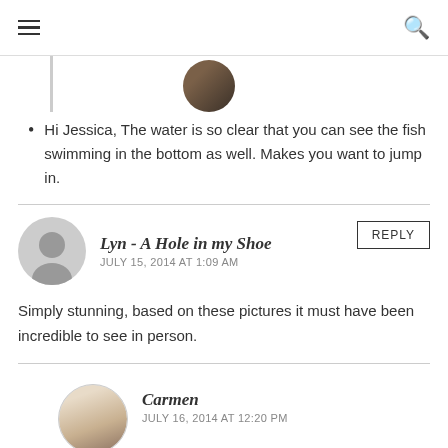≡ [menu] [search]
Hi Jessica, The water is so clear that you can see the fish swimming in the bottom as well. Makes you want to jump in.
Lyn - A Hole in my Shoe
JULY 15, 2014 AT 1:09 AM
Simply stunning, based on these pictures it must have been incredible to see in person.
Carmen
JULY 16, 2014 AT 12:20 PM